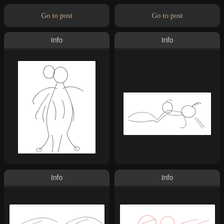Go to post
Go to post
Info
[Figure (illustration): Line art sketch of two figures in an intimate pose, pencil/ink style on white background]
Info
[Figure (illustration): Line art sketch of two figures reclining together, pencil style on white background]
Info
[Figure (illustration): Partial line art sketch visible at bottom of card, dark background]
Info
[Figure (illustration): Partial colored/line art sketch visible at bottom of card]